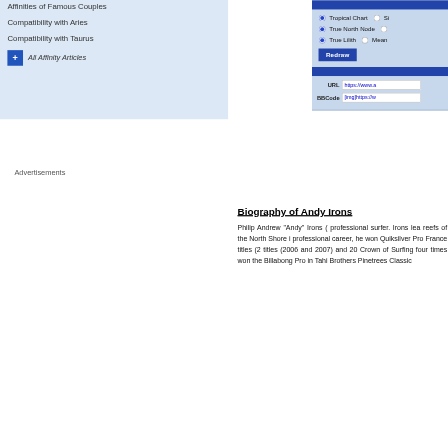Affinities of Famous Couples
Compatibility with Aries
Compatibility with Taurus
+ All Affinity Articles
Advertisements
[Figure (screenshot): Chart settings panel with radio buttons for Tropical Chart, True North Node, True Lilith / Mean options, a Redraw button, and URL/BBCode fields]
Biography of Andy Irons
Philip Andrew "Andy" Irons (  professional surfer. Irons lea reefs of the North Shore i professional career, he won  Quiksilver Pro France titles (2 titles (2006 and 2007) and 20 Crown of Surfing four times  won the Billabong Pro in Tahi Brothers Pinetrees Classic...